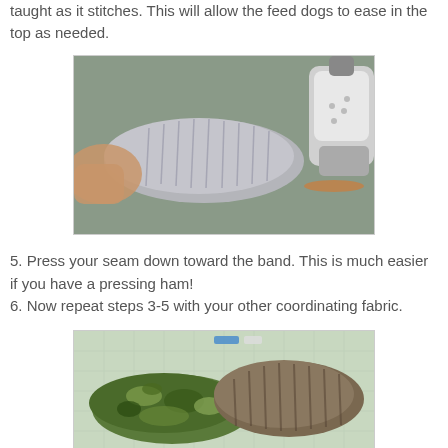taught as it stitches. This will allow the feed dogs to ease in the top as needed.
[Figure (photo): A hand holding a gathered/ruffled piece of fabric being pressed with a clothes iron on a green surface.]
5. Press your seam down toward the band. This is much easier if you have a pressing ham!
6. Now repeat steps 3-5 with your other coordinating fabric.
[Figure (photo): Two fabric-covered pressing hams on a cutting mat — one in camouflage green pattern and one in bark/tree pattern.]